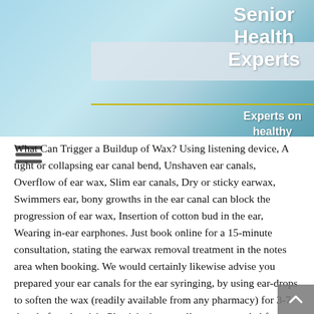[Figure (photo): Header image showing a senior woman with raised arms against a blue sky background, with 'Senior Health Experts — Experts on healthy ageing' text overlay. A gray banner and yellow horizontal line are visible.]
What Can Trigger a Buildup of Wax? Using listening device, A tight or collapsing ear canal bend, Unshaven ear canals, Overflow of ear wax, Slim ear canals, Dry or sticky earwax, Swimmers ear, bony growths in the ear canal can block the progression of ear wax, Insertion of cotton bud in the ear, Wearing in-ear earphones. Just book online for a 15-minute consultation, stating the earwax removal treatment in the notes area when booking. We would certainly likewise advise you prepared your ear canals for the ear syringing, by using ear-drops to soften the wax (readily available from any pharmacy) for 3-7 days before the visit. Physician's normally recommended for therapy if they believe that you have an